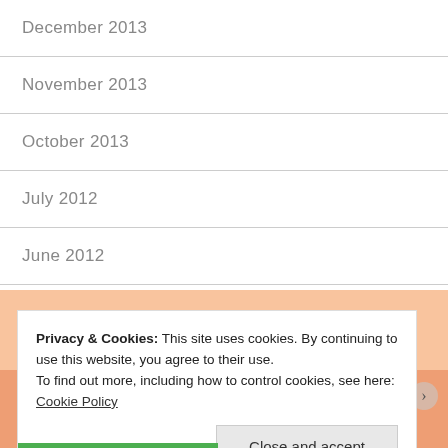December 2013
November 2013
October 2013
July 2012
June 2012
Privacy & Cookies: This site uses cookies. By continuing to use this website, you agree to their use. To find out more, including how to control cookies, see here: Cookie Policy
Close and accept